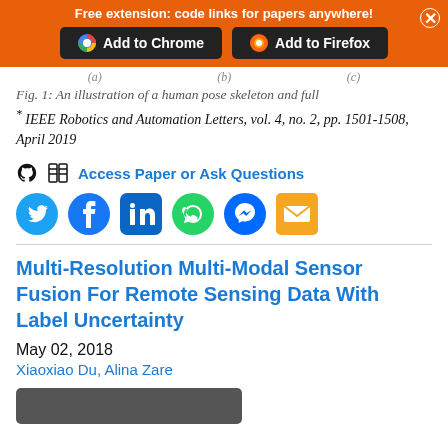Free extension: code links for papers anywhere!
[Figure (screenshot): Orange banner with 'Add to Chrome' and 'Add to Firefox' buttons]
Fig. 1: An illustration of a human pose skeleton and full
* IEEE Robotics and Automation Letters, vol. 4, no. 2, pp. 1501-1508, April 2019
Access Paper or Ask Questions
[Figure (infographic): Social media sharing icons: Twitter, Facebook, LinkedIn, WhatsApp, Messenger, Email]
Multi-Resolution Multi-Modal Sensor Fusion For Remote Sensing Data With Label Uncertainty
May 02, 2018
Xiaoxiao Du, Alina Zare